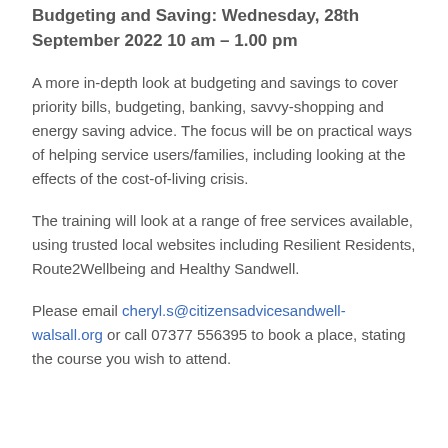Budgeting and Saving: Wednesday, 28th September 2022 10 am – 1.00 pm
A more in-depth look at budgeting and savings to cover priority bills, budgeting, banking, savvy-shopping and energy saving advice.  The focus will be on practical ways of helping service users/families, including looking at the effects of the cost-of-living crisis.
The training will look at a range of free services available, using trusted local websites including Resilient Residents, Route2Wellbeing and Healthy Sandwell.
Please email cheryl.s@citizensadvicesandwell-walsall.org or call 07377 556395 to book a place, stating the course you wish to attend.